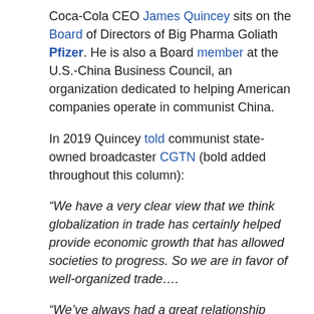Coca-Cola CEO James Quincey sits on the Board of Directors of Big Pharma Goliath Pfizer. He is also a Board member at the U.S.-China Business Council, an organization dedicated to helping American companies operate in communist China.
In 2019 Quincey told communist state-owned broadcaster CGTN (bold added throughout this column):
“We have a very clear view that we think globalization in trade has certainly helped provide economic growth that has allowed societies to progress. So we are in favor of well-organized trade….
“We’ve always had a great relationship operating in China. One of our partners is a state company… I have to say we’ve always been able to find our way to expansion and the right opportunities in China…. Focusing on how to get the economy to grow and what